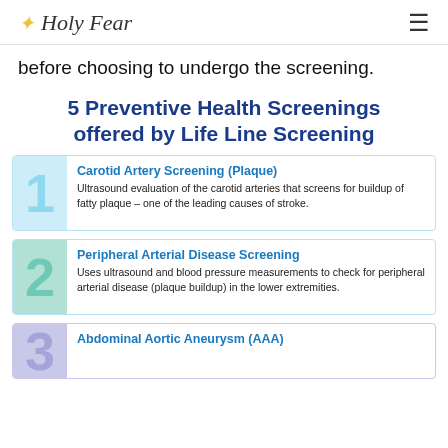Holy Fear
before choosing to undergo the screening.
5 Preventive Health Screenings offered by Life Line Screening
1 Carotid Artery Screening (Plaque) — Ultrasound evaluation of the carotid arteries that screens for buildup of fatty plaque – one of the leading causes of stroke.
2 Peripheral Arterial Disease Screening — Uses ultrasound and blood pressure measurements to check for peripheral arterial disease (plaque buildup) in the lower extremities.
3 Abdominal Aortic Aneurysm (AAA)